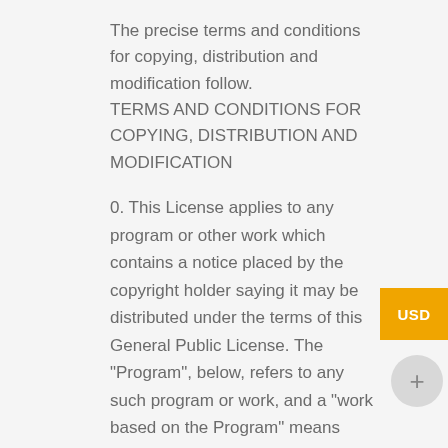The precise terms and conditions for copying, distribution and modification follow.
TERMS AND CONDITIONS FOR COPYING, DISTRIBUTION AND MODIFICATION
0. This License applies to any program or other work which contains a notice placed by the copyright holder saying it may be distributed under the terms of this General Public License. The "Program", below, refers to any such program or work, and a "work based on the Program" means either the Program or any derivative work under copyright law: that is to say, a work containing the Program or a portion of it, either verbatim or with modifications and/or translated into another language. (Hereinafter, translation is included without